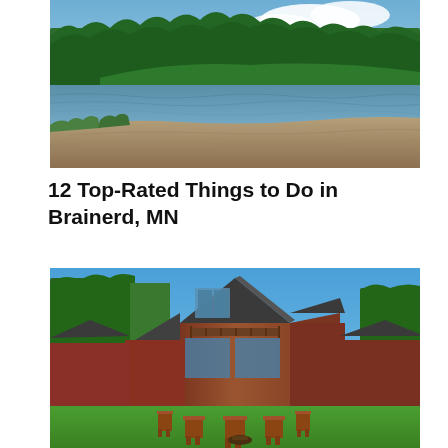[Figure (photo): Sandy beach shoreline with calm lake water and a tree-lined forested peninsula in the background under a partly cloudy blue sky.]
12 Top-Rated Things to Do in Brainerd, MN
[Figure (photo): Large rustic wooden lodge-style cabin with a steep dark roof, large windows, and two balconies, surrounded by green trees and lawn with wooden Adirondack chairs arranged in front.]